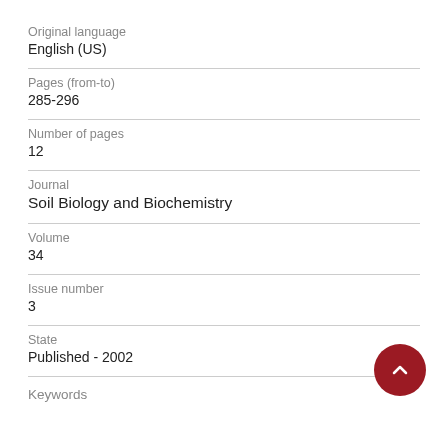Original language
English (US)
Pages (from-to)
285-296
Number of pages
12
Journal
Soil Biology and Biochemistry
Volume
34
Issue number
3
State
Published - 2002
Keywords